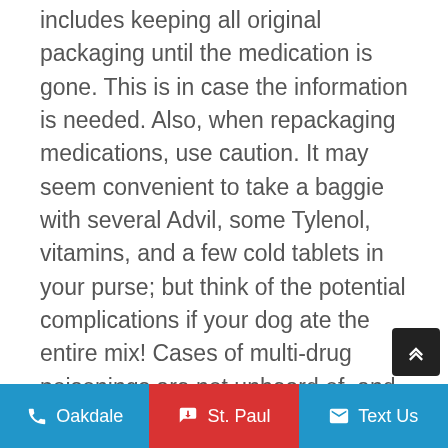includes keeping all original packaging until the medication is gone. This is in case the information is needed. Also, when repackaging medications, use caution. It may seem convenient to take a baggie with several Advil, some Tylenol, vitamins, and a few cold tablets in your purse; but think of the potential complications if your dog ate the entire mix! Cases of multi-drug poisonings are not unheard of, and it can be difficult to ascertain just how much of
Oakdale  +  St. Paul  Text Us